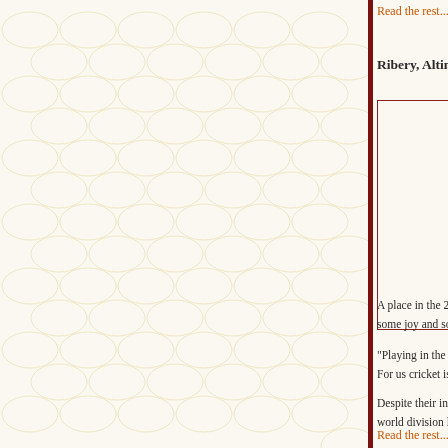Read the rest....
Ribery, Altintop make Mecca pilgrimage
[Figure (photo): Photo placeholder with dark red border, empty/white interior]
Bayern Muni... to the holy ci...
The club's We... rejoined the te...
Ribery, who i...
Afghanista...
A place in the 2011 World Cup would be one way of g... some joy and solace, says the country's cricket captain...
"Playing in the 2011 World Cup is a dream for us and... For us cricket is not just a sport, it is much more," he s...
Despite their inexperience, Afghanistan have already w... world division league four and five tournaments in Ne...
Read the rest....